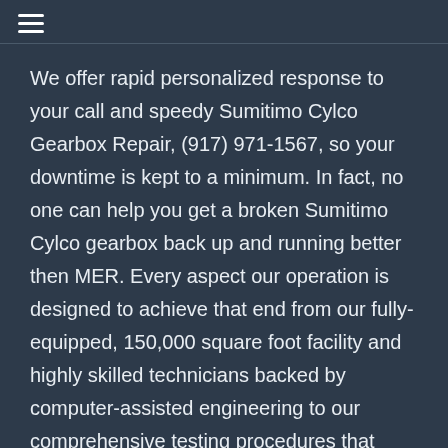We offer rapid personalized response to your call and speedy Sumitimo Cylco Gearbox Repair, (917) 971-1567, so your downtime is kept to a minimum. In fact, no one can help you get a broken Sumitimo Cylco gearbox back up and running better then MER. Every aspect our operation is designed to achieve that end from our fully-equipped, 150,000 square foot facility and highly skilled technicians backed by computer-assisted engineering to our comprehensive testing procedures that enable us to pinpoint problems quickly and efficiently.